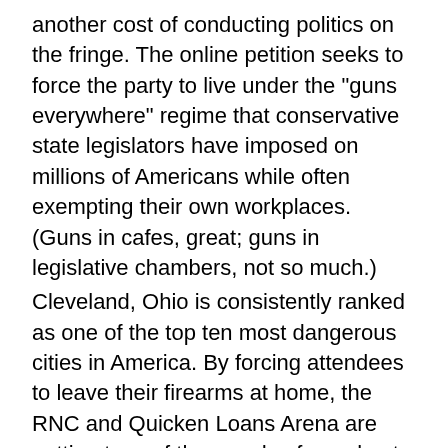another cost of conducting politics on the fringe. The online petition seeks to force the party to live under the "guns everywhere" regime that conservative state legislators have imposed on millions of Americans while often exempting their own workplaces. (Guns in cafes, great; guns in legislative chambers, not so much.)
Cleveland, Ohio is consistently ranked as one of the top ten most dangerous cities in America. By forcing attendees to leave their firearms at home, the RNC and Quicken Loans Arena are putting tens of thousands of people at risk both inside and outside of the convention site.
This doesn't even begin to factor in the possibility of an IS terrorist attack on the arena during the convention. Without the right to protect themselves, those at the Quicken Loans Arena will be sitting ducks, utterly helpless against evil-doers, criminals or others who wish to threaten the